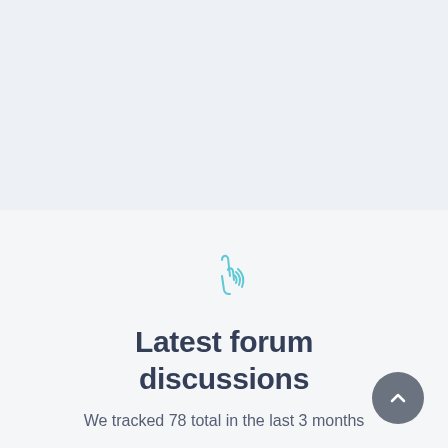[Figure (illustration): Light blue-gray empty panel at the top of the page]
[Figure (illustration): Small teal/cyan icon of a hand with sound waves, representing forum discussions]
Latest forum discussions
We tracked 78 total in the last 3 months